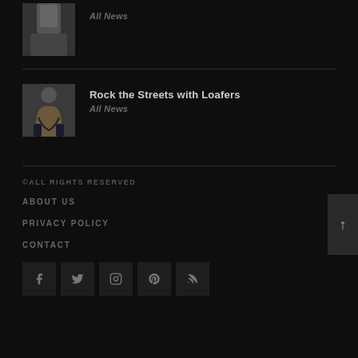[Figure (photo): Thumbnail photo of a person, partially cropped at top]
All News
[Figure (photo): Thumbnail photo of a person sitting in a crouching pose wearing a brown jacket and dark pants]
Rock the Streets with Loafers
All News
©ALL RIGHTS RESERVED
ABOUT US
PRIVACY POLICY
CONTACT
[Figure (illustration): Social media icons: Facebook, Twitter, Instagram, Pinterest, RSS feed]